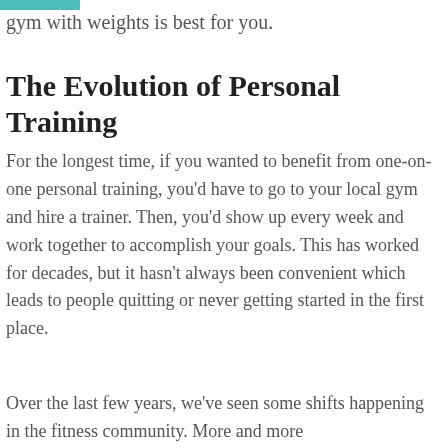gym with weights is best for you.
The Evolution of Personal Training
For the longest time, if you wanted to benefit from one-on-one personal training, you'd have to go to your local gym and hire a trainer. Then, you'd show up every week and work together to accomplish your goals. This has worked for decades, but it hasn't always been convenient which leads to people quitting or never getting started in the first place.
Over the last few years, we've seen some shifts happening in the fitness community. More and more